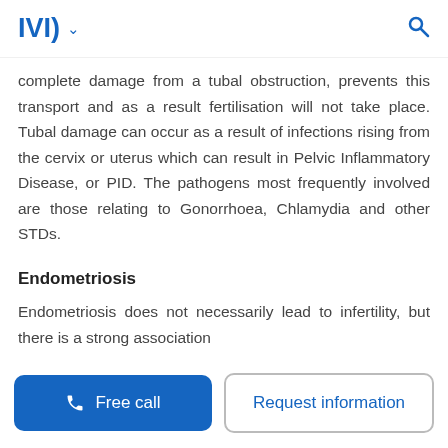IVI ∨  🔍
complete damage from a tubal obstruction, prevents this transport and as a result fertilisation will not take place. Tubal damage can occur as a result of infections rising from the cervix or uterus which can result in Pelvic Inflammatory Disease, or PID. The pathogens most frequently involved are those relating to Gonorrhoea, Chlamydia and other STDs.
Endometriosis
Endometriosis does not necessarily lead to infertility, but there is a strong association
📞 Free call   Request information